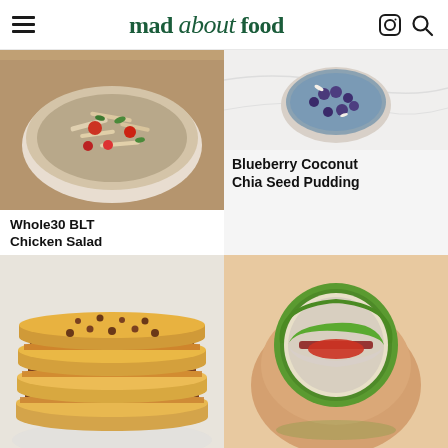mad about food
[Figure (photo): Overhead view of a chicken salad in a bowl with tomatoes and herbs on a wooden board]
[Figure (photo): Close-up of blueberry coconut chia seed pudding in a glass or bowl on a white marble surface]
Blueberry Coconut Chia Seed Pudding
Whole30 BLT Chicken Salad
[Figure (photo): Stack of quesadillas with ground beef and melted cheese on a white plate]
[Figure (photo): Hand holding a turkey lettuce wrap cut in half showing layers of turkey, bacon, lettuce and tomato]